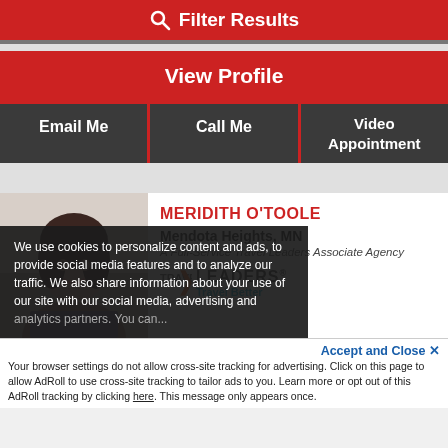Filter Results
View Profile
Email Me
Call Me
Video Appointment
MERIDITH O'TOOLE
Mendota Heights, MN
A Full-Service Travel Leaders Associate Agency
[Figure (logo): Travel Leaders logo with orange arrow and 'Travel Better' tagline]
We use cookies to personalize content and ads, to provide social media features and to analyze our traffic. We also share information about your use of our site with our social media, advertising and analytics partners. You can...
Accept and Close ✕
Your browser settings do not allow cross-site tracking for advertising. Click on this page to allow AdRoll to use cross-site tracking to tailor ads to you. Learn more or opt out of this AdRoll tracking by clicking here. This message only appears once.